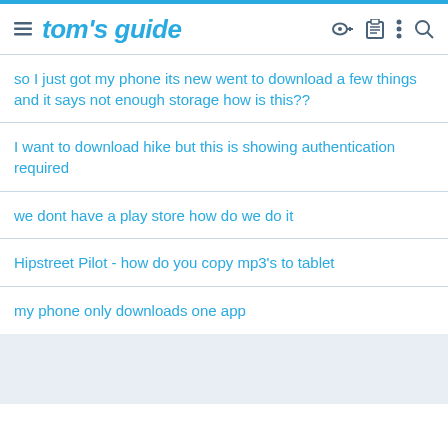tom's guide
so I just got my phone its new went to download a few things and it says not enough storage how is this??
I want to download hike but this is showing authentication required
we dont have a play store how do we do it
Hipstreet Pilot - how do you copy mp3's to tablet
my phone only downloads one app